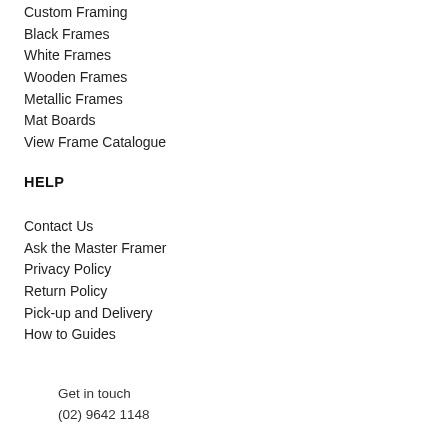Custom Framing
Black Frames
White Frames
Wooden Frames
Metallic Frames
Mat Boards
View Frame Catalogue
HELP
Contact Us
Ask the Master Framer
Privacy Policy
Return Policy
Pick-up and Delivery
How to Guides
Get in touch
(02) 9642 1148